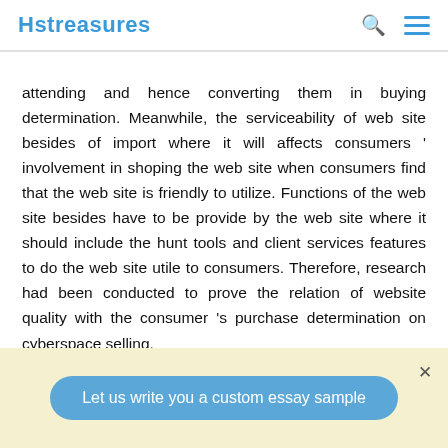Hstreasures
attending and hence converting them in buying determination. Meanwhile, the serviceability of web site besides of import where it will affects consumers ' involvement in shoping the web site when consumers find that the web site is friendly to utilize. Functions of the web site besides have to be provide by the web site where it should include the hunt tools and client services features to do the web site utile to consumers. Therefore, research had been conducted to prove the relation of website quality with the consumer 's purchase determination on cyberspace selling.
Let us write you a custom essay sample